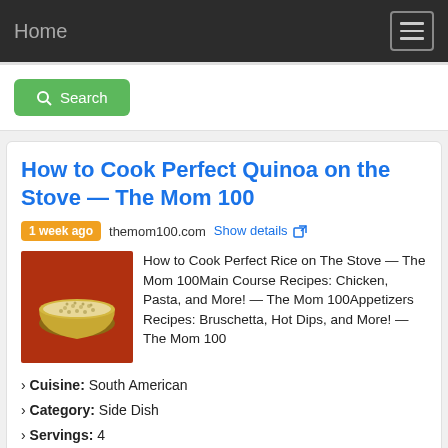Home
Search
How to Cook Perfect Quinoa on the Stove — The Mom 100
1 week ago  themom100.com  Show details
How to Cook Perfect Rice on The Stove — The Mom 100Main Course Recipes: Chicken, Pasta, and More! — The Mom 100Appetizers Recipes: Bruschetta, Hot Dips, and More! — The Mom 100
› Cuisine: South American
› Category: Side Dish
› Servings: 4
› Total Time: 17 mins